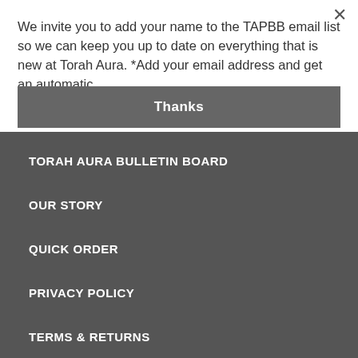We invite you to add your name to the TAPBB email list so we can keep you up to date on everything that is new at Torah Aura. *Add your email address and get an automatic
Thanks
TORAH AURA BULLETIN BOARD
OUR STORY
QUICK ORDER
PRIVACY POLICY
TERMS & RETURNS